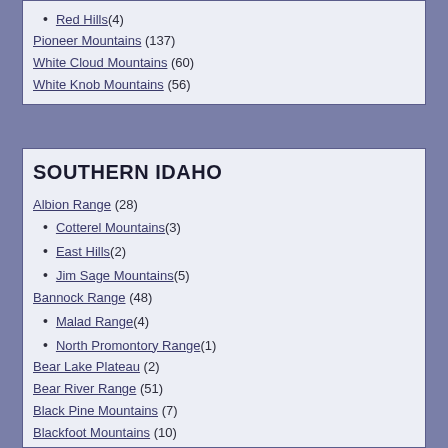Red Hills (4)
Pioneer Mountains (137)
White Cloud Mountains (60)
White Knob Mountains (56)
SOUTHERN IDAHO
Albion Range (28)
Cotterel Mountains (3)
East Hills (2)
Jim Sage Mountains (5)
Bannock Range (48)
Malad Range (4)
North Promontory Range (1)
Bear Lake Plateau (2)
Bear River Range (51)
Black Pine Mountains (7)
Blackfoot Mountains (10)
Chesterfield Range (2)
Ninety Percent Range (1)
Soda Springs Hills (2)
Caribou Range (66)
Deep Creek Mountains (10)
North Hansel Mountains (3)
Owyhee Mountains (99)
Silver City Range (22)
Peale Mountains (68)